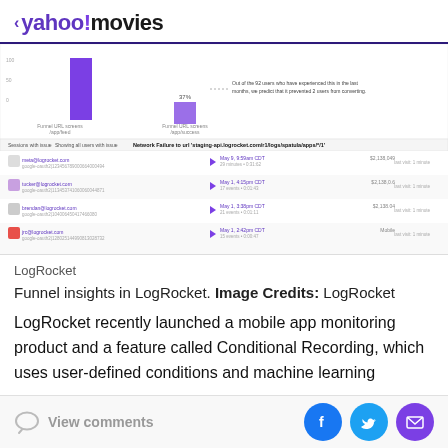< yahoo!movies
[Figure (screenshot): LogRocket funnel insights dashboard screenshot showing a bar chart with a tall purple bar and a smaller purple bar (37%), and a session list filtered by 'Network Failure to url staging-api.logrocket.com/r1/logs/spatula/apps/*/1' showing 4 user sessions with timestamps and session details.]
LogRocket
Funnel insights in LogRocket. Image Credits: LogRocket
LogRocket recently launched a mobile app monitoring product and a feature called Conditional Recording, which uses user-defined conditions and machine learning
View comments